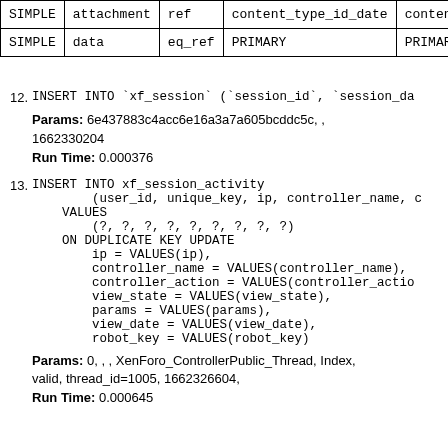|  |  |  | content_type_id_date | content_ty |
| --- | --- | --- | --- | --- |
| SIMPLE | attachment | ref | content_type_id_date | content_ty |
| SIMPLE | data | eq_ref | PRIMARY | PRIMARY |
12. INSERT INTO `xf_session` (`session_id`, `session_da...
Params: 6e437883c4acc6e16a3a7a605bcddc5c, , 1662330204
Run Time: 0.000376
13. INSERT INTO xf_session_activity (user_id, unique_key, ip, controller_name, ...) VALUES (?, ?, ?, ?, ?, ?, ?, ?, ?) ON DUPLICATE KEY UPDATE ip = VALUES(ip), controller_name = VALUES(controller_name), controller_action = VALUES(controller_action), view_state = VALUES(view_state), params = VALUES(params), view_date = VALUES(view_date), robot_key = VALUES(robot_key)
Params: 0, , , XenForo_ControllerPublic_Thread, Index, valid, thread_id=1005, 1662326604,
Run Time: 0.000645